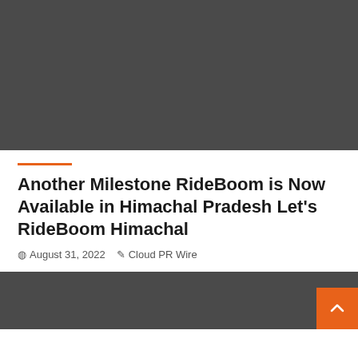[Figure (photo): Dark gray/charcoal image placeholder at top of page]
Another Milestone RideBoom is Now Available in Himachal Pradesh Let's RideBoom Himachal
August 31, 2022   Cloud PR Wire
[Figure (photo): Dark gray/charcoal image placeholder at bottom of page]